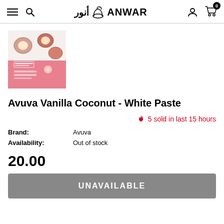ANWAR pharmacy logo header with hamburger menu, search icon, user icon, and cart (0)
[Figure (photo): Avuva Vanilla Coconut White Paste product packaging — pink box with coconut imagery]
Avuva Vanilla Coconut - White Paste
🔥 5 sold in last 15 hours
Brand: Avuva
Availability: Out of stock
20.00
UNAVAILABLE